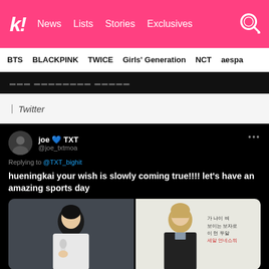k! News  Lists  Stories  Exclusives
BTS  BLACKPINK  TWICE  Girls' Generation  NCT  aespa
| Twitter
[Figure (screenshot): Tweet from joe 💙 TXT (@joe_txtmoa) replying to @TXT_bighit: 'hueningkai your wish is slowly coming true!!!! let's have an amazing sports day' with two images of K-pop group members (TXT).]